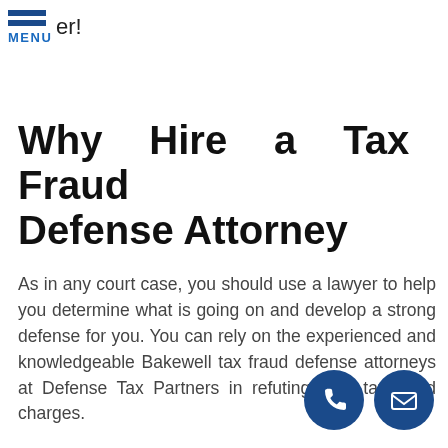er! MENU
Why Hire a Tax Fraud Defense Attorney
As in any court case, you should use a lawyer to help you determine what is going on and develop a strong defense for you. You can rely on the experienced and knowledgeable Bakewell tax fraud defense attorneys at Defense Tax Partners in refuting your tax fraud charges.
[Figure (illustration): Two circular dark blue contact icons at bottom right: a phone icon and an envelope/email icon]